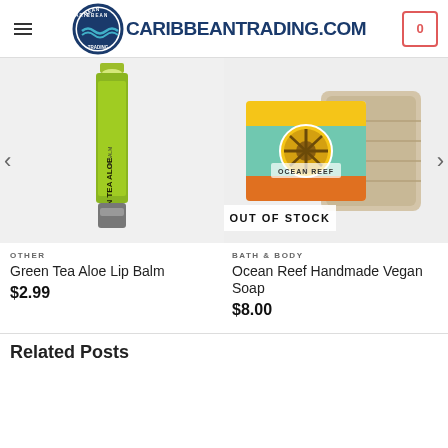CARIBBEANTRADING.COM
[Figure (photo): Green Tea Aloe Lip Balm tube product photo on white background]
[Figure (photo): Ocean Reef Handmade Vegan Soap with colorful wrapper and burlap bag, showing OUT OF STOCK overlay]
OTHER
Green Tea Aloe Lip Balm
$2.99
BATH & BODY
Ocean Reef Handmade Vegan Soap
$8.00
Related Posts